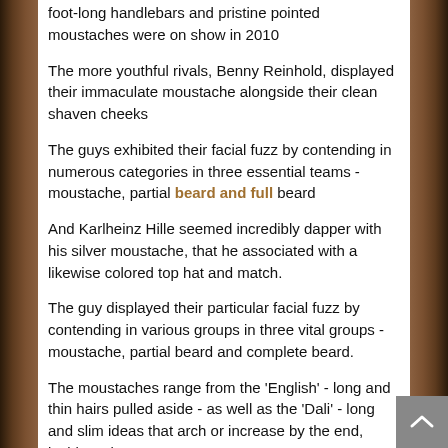foot-long handlebars and pristine pointed moustaches were on show in 2010
The more youthful rivals, Benny Reinhold, displayed their immaculate moustache alongside their clean shaven cheeks
The guys exhibited their facial fuzz by contending in numerous categories in three essential teams - moustache, partial beard and full beard
And Karlheinz Hille seemed incredibly dapper with his silver moustache, that he associated with a likewise colored top hat and match.
The guy displayed their particular facial fuzz by contending in various groups in three vital groups - moustache, partial beard and complete beard.
The moustaches range from the 'English' - long and thin hairs pulled aside - as well as the 'Dali' - long and slim ideas that arch or increase by the end, inside style of the Surrealist painter that...